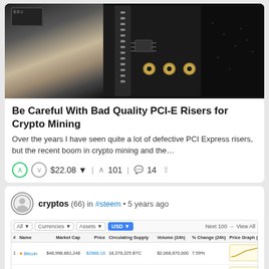[Figure (photo): Close-up photo of PCI-E riser card components, showing USB connector and circuit board with electronic components on dark background]
Be Careful With Bad Quality PCI-E Risers for Crypto Mining
Over the years I have seen quite a lot of defective PCI Express risers, but the recent boom in crypto mining and the…
$22.08 ▼  ↑ 101  💬 14  ↩
cryptos (66) in #steem • 5 years ago
| # | Name | Market Cap | Price | Circulating Supply | Volume (24h) | % Change (24h) | Price Graph (7d) |
| --- | --- | --- | --- | --- | --- | --- | --- |
| 1 | Bitcoin | $48,998,881,248 | $2888.18 | 18,378,225 BTC | $2,068,870,000 | 7.59% | chart |
| 2 | Ethereum | $24,094,713,204 | $261.15 | 92,294,237 ETH | $719,401,000 | 5.19% | chart |
| 3 | Ripple | $10,880,186,207 | $0.284391 | 38,821,669,933 XRP * | $132,616,000 | -3.58% | chart |
| 4 | NEM | $2,134,800,000 | $0.237297 | 8,999,999,999 XEM * | $14,246,700 | -0.22% | chart |